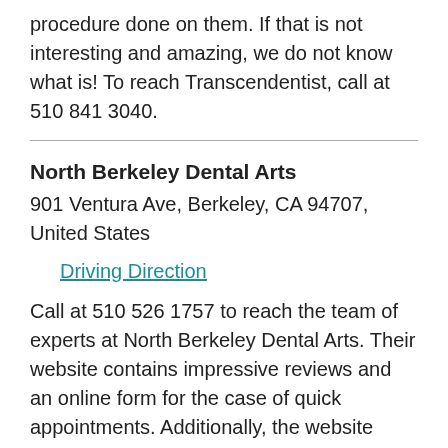procedure done on them. If that is not interesting and amazing, we do not know what is! To reach Transcendentist, call at 510 841 3040.
North Berkeley Dental Arts
901 Ventura Ave, Berkeley, CA 94707, United States
Driving Direction
Call at 510 526 1757 to reach the team of experts at North Berkeley Dental Arts. Their website contains impressive reviews and an online form for the case of quick appointments. Additionally, the website